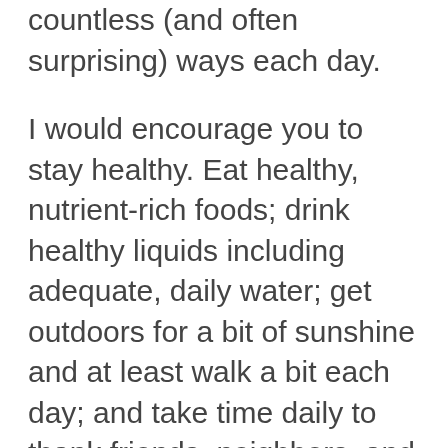countless (and often surprising) ways each day.
I would encourage you to stay healthy. Eat healthy, nutrient-rich foods; drink healthy liquids including adequate, daily water; get outdoors for a bit of sunshine and at least walk a bit each day; and take time daily to thank friends, neighbors, and family members for the regular support they add to your life, and God for His rich blessings. I can't say enough about the uplift we get from a grateful attitude.